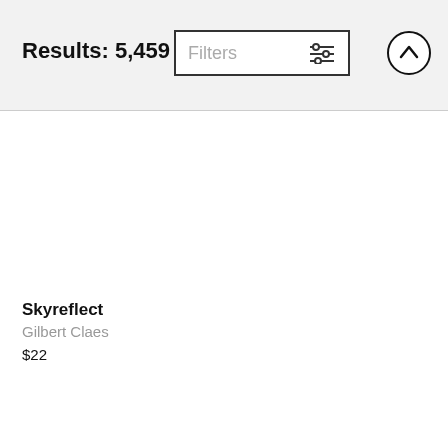Results: 5,459
Filters
Skyreflect
Gilbert Claes
$22